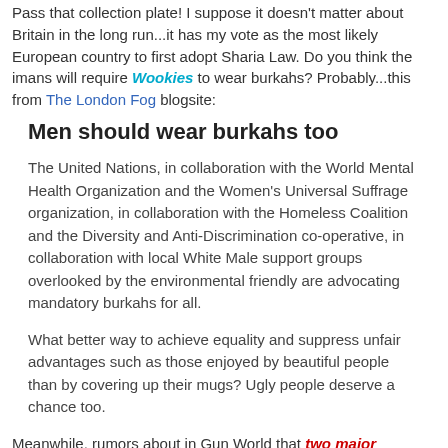Pass that collection plate! I suppose it doesn't matter about Britain in the long run...it has my vote as the most likely European country to first adopt Sharia Law. Do you think the imans will require Wookies to wear burkahs? Probably...this from The London Fog blogsite:
Men should wear burkahs too
The United Nations, in collaboration with the World Mental Health Organization and the Women's Universal Suffrage organization, in collaboration with the Homeless Coalition and the Diversity and Anti-Discrimination co-operative, in collaboration with local White Male support groups overlooked by the environmental friendly are advocating mandatory burkahs for all.
What better way to achieve equality and suppress unfair advantages such as those enjoyed by beautiful people than by covering up their mugs? Ugly people deserve a chance too.
Meanwhile, rumors about in Gun World that two major